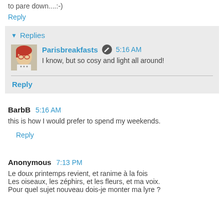to pare down....:-)
Reply
Replies
Parisbreakfasts  5:16 AM
I know, but so cosy and light all around!
Reply
BarbB  5:16 AM
this is how I would prefer to spend my weekends.
Reply
Anonymous  7:13 PM
Le doux printemps revient, et ranime à la fois
Les oiseaux, les zéphirs, et les fleurs, et ma voix.
Pour quel sujet nouveau dois-je monter ma lyre ?